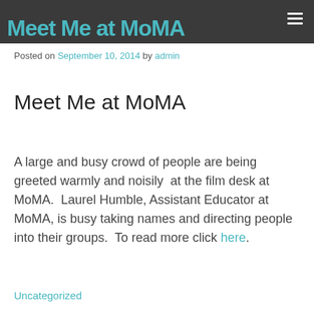Meet Me at MoMA
Posted on September 10, 2014 by admin
Meet Me at MoMA
A large and busy crowd of people are being greeted warmly and noisily  at the film desk at MoMA.  Laurel Humble, Assistant Educator at MoMA, is busy taking names and directing people into their groups.  To read more click here.
Uncategorized